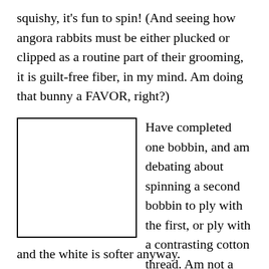squishy, it's fun to spin! (And seeing how angora rabbits must be either plucked or clipped as a routine part of their grooming, it is guilt-free fiber, in my mind. Am doing that bunny a FAVOR, right?)
[Figure (other): A blank white rectangle with a black border, representing a placeholder image.]
Have completed one bobbin, and am debating about spinning a second bobbin to ply with the first, or ply with a contrasting cotton thread. Am not a huge fan of brown, and the white is softer anyway.
and the white is softer anyway.